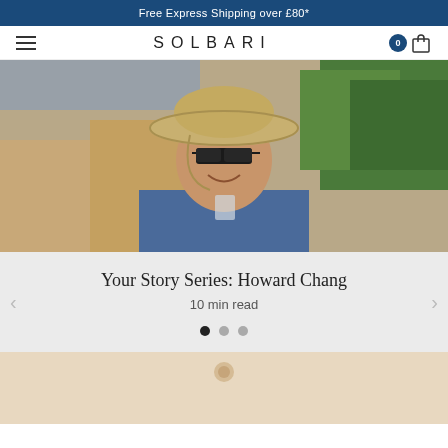Free Express Shipping over £80*
SOLBARI
[Figure (photo): A man wearing a wide-brim sun hat, sunglasses, and a blue long-sleeve shirt, smiling outdoors near a wooden fence and green trees.]
Your Story Series: Howard Chang
10 min read
[Figure (other): Carousel navigation dots: one filled dark (active), two grey dots. Left and right arrow navigation.]